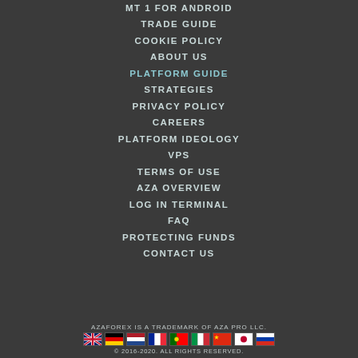MT 1 FOR ANDROID
TRADE GUIDE
COOKIE POLICY
ABOUT US
PLATFORM GUIDE
STRATEGIES
PRIVACY POLICY
CAREERS
PLATFORM IDEOLOGY
VPS
TERMS OF USE
AZA OVERVIEW
LOG IN TERMINAL
FAQ
PROTECTING FUNDS
CONTACT US
AZAFOREX IS A TRADEMARK OF AZA PRO LLC. © 2016-2020. ALL RIGHTS RESERVED.